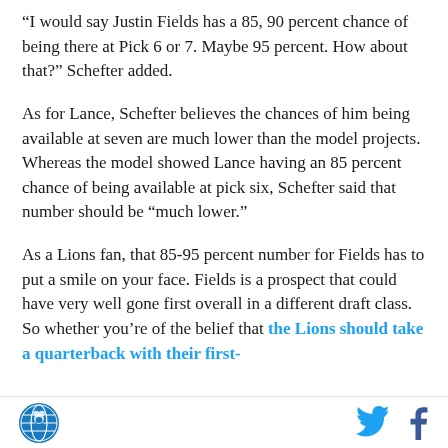“I would say Justin Fields has a 85, 90 percent chance of being there at Pick 6 or 7. Maybe 95 percent. How about that?” Schefter added.
As for Lance, Schefter believes the chances of him being available at seven are much lower than the model projects. Whereas the model showed Lance having an 85 percent chance of being available at pick six, Schefter said that number should be “much lower.”
As a Lions fan, that 85-95 percent number for Fields has to put a smile on your face. Fields is a prospect that could have very well gone first overall in a different draft class. So whether you’re of the belief that the Lions should take a quarterback with their first-